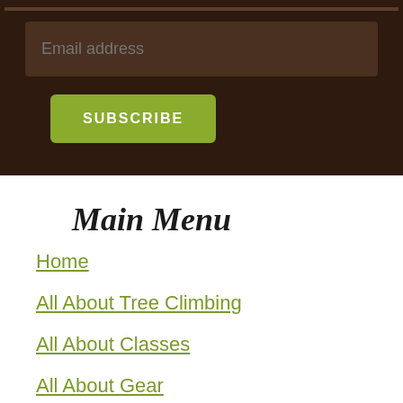Email address
SUBSCRIBE
Main Menu
Home
All About Tree Climbing
All About Classes
All About Gear
All About TCI